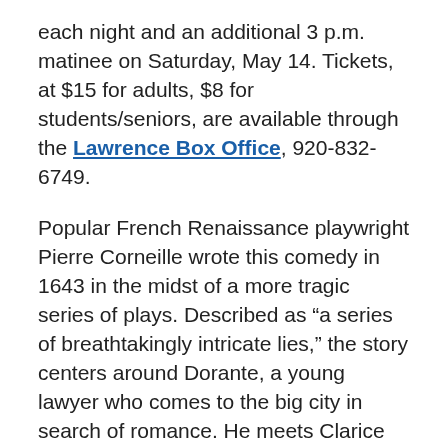each night and an additional 3 p.m. matinee on Saturday, May 14. Tickets, at $15 for adults, $8 for students/seniors, are available through the Lawrence Box Office, 920-832-6749.
Popular French Renaissance playwright Pierre Corneille wrote this comedy in 1643 in the midst of a more tragic series of plays. Described as “a series of breathtakingly intricate lies,” the story centers around Dorante, a young lawyer who comes to the big city in search of romance. He meets Clarice and immediately falls for her, unaware that she is already secretly engaged to his friend Alcippe. In his efforts to woo her, he invents a tale of his amazing military feats, unleashing a web of falsehood that ensnares all